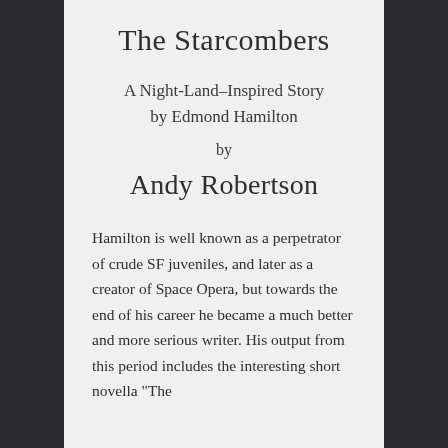The Starcombers
A Night-Land–Inspired Story by Edmond Hamilton
by
Andy Robertson
Hamilton is well known as a perpetrator of crude SF juveniles, and later as a creator of Space Opera, but towards the end of his career he became a much better and more serious writer. His output from this period includes the interesting short novella "The